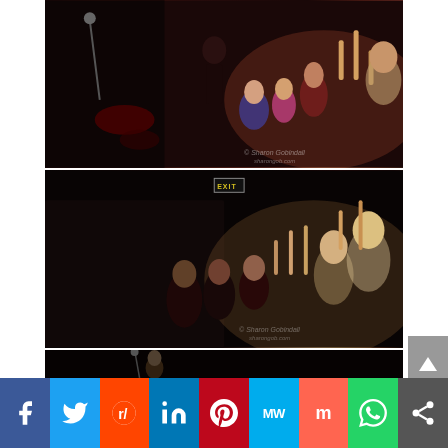[Figure (photo): Concert photo showing a performer on stage with audience members raising their hands and taking photos. Warm reddish stage lighting. Watermark visible in lower right.]
[Figure (photo): Concert photo showing audience members clapping and raising hands toward the stage, dark venue with an EXIT sign visible in the background. Watermark visible in lower right.]
[Figure (photo): Partial concert photo at the bottom showing a performer near a microphone in a very dark setting.]
Facebook Twitter Reddit LinkedIn Pinterest MeWe Mix WhatsApp Share